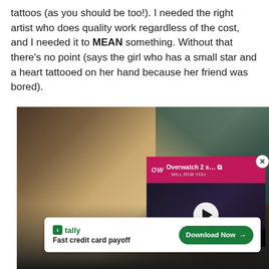tattoos (as you should be too!). I needed the right artist who does quality work regardless of the cost, and I needed it to MEAN something. Without that there's no point (says the girl who has a small star and a heart tattooed on her hand because her friend was bored).
[Figure (photo): Photo of a person with dreadlocks and a nose ring in what appears to be a tattoo studio, with overlaid video advertisement for Overwatch 2 and a Tally credit card payoff advertisement banner at the bottom.]